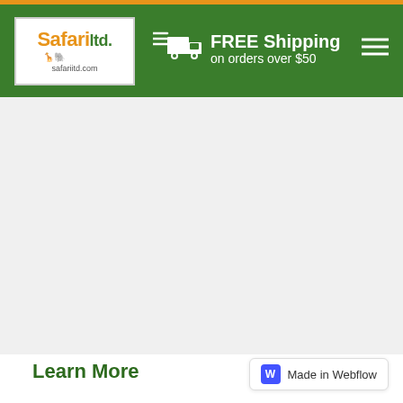Safari Ltd — safariltd.com | FREE Shipping on orders over $50
[Figure (screenshot): Large empty gray content area below the navigation header]
Learn More
Made in Webflow